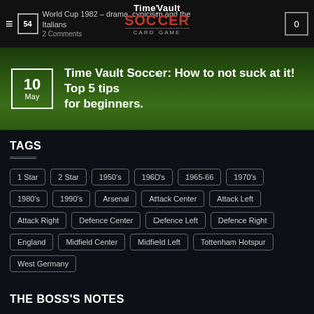World Cup 1982 – drama, cynicism and the Italians | Time Vault Soccer Card Game
Time Vault Soccer: How to not suck at it! Top 5 tips for beginners.
TAGS
1 Star
2 Star
1950's
1960's
1965-66
1970's
1980's
1990's
Arsenal
Attack Center
Attack Left
Attack Right
Defence Center
Defence Left
Defence Right
England
Midfield Center
Midfield Left
Tottenham Hotspur
West Germany
THE BOSS'S NOTES